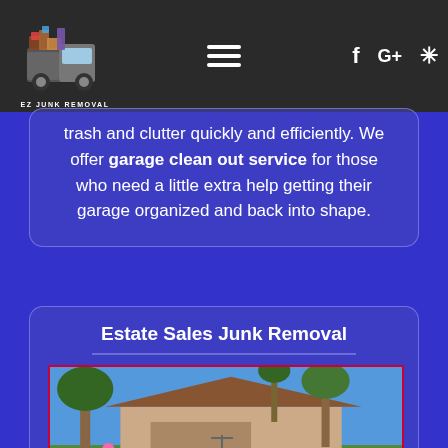[Figure (logo): EZ Junk Removal logo with truck graphic and company name text in navigation bar]
EZ JUNK REMOVAL — navigation bar with hamburger menu, Facebook, Google+, and Yelp icons
trash and clutter quickly and efficiently. We offer garage clean out service for those who need a little extra help getting their garage organized and back into shape.
Estate Sales Junk Removal
[Figure (photo): Outdoor estate sale scene showing a suburban home with items spread across the front yard including furniture, lamps, clothes, and various household items for sale, with trees and blue sky in background]